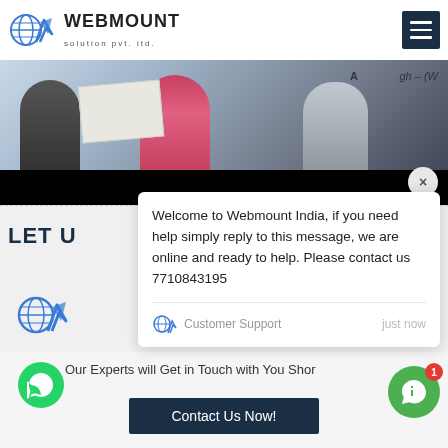[Figure (logo): Webmount Solution Pvt. Ltd. logo with globe and mountain/chart icon]
[Figure (photo): Screenshot of Webmount India website showing people at an event, with a chat popup overlay displaying a welcome message]
Welcome to Webmount India, if you need help simply reply to this message, we are online and ready to help. Please contact us 7710843195
Customer Support   just now
LET U
Our Experts will Get in Touch with You Shortly
Contact Us Now!